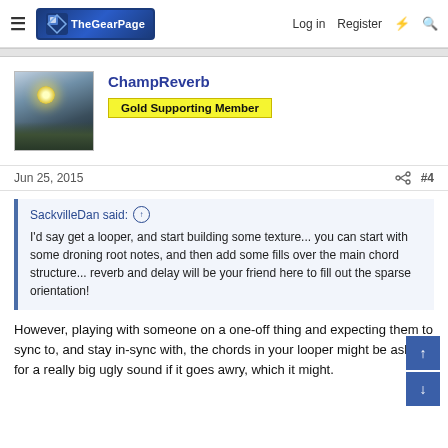The Gear Page — Log in  Register
ChampReverb
Gold Supporting Member
Jun 25, 2015  #4
SackvilleDan said: ↑
I'd say get a looper, and start building some texture... you can start with some droning root notes, and then add some fills over the main chord structure... reverb and delay will be your friend here to fill out the sparse orientation!
However, playing with someone on a one-off thing and expecting them to sync to, and stay in-sync with, the chords in your looper might be asking for a really big ugly sound if it goes awry, which it might.